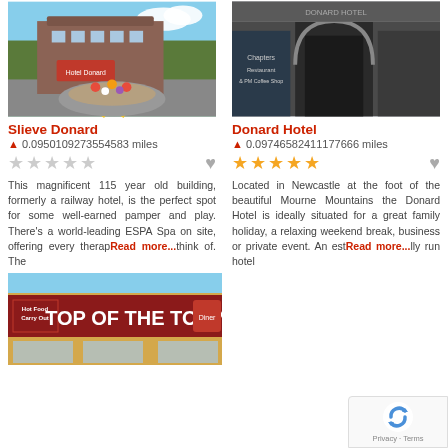[Figure (photo): Slieve Donard hotel exterior with red sign and stone flower bed in foreground]
Slieve Donard
0.0950109273554583 miles
This magnificent 115 year old building, formerly a railway hotel, is the perfect spot for some well-earned pamper and play. There's a world-leading ESPA Spa on site, offering every therap Read more... think of. The
[Figure (photo): Donard Hotel exterior showing Chapters Restaurant & PM Coffee Shop signage with arched entrance]
Donard Hotel
0.09746582411177666 miles
Located in Newcastle at the foot of the beautiful Mourne Mountains the Donard Hotel is ideally situated for a great family holiday, a relaxing weekend break, business or private event. An est Read more... lly run hotel
[Figure (photo): Top of the Town diner exterior with large sign]